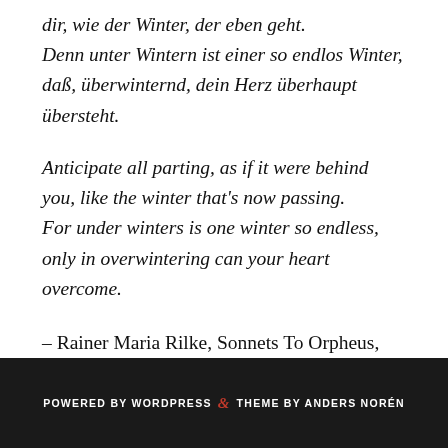dir, wie der Winter, der eben geht.
Denn unter Wintern ist einer so endlos Winter,
daß, überwinternd, dein Herz überhaupt übersteht.
Anticipate all parting, as if it were behind
you, like the winter that's now passing.
For under winters is one winter so endless,
only in overwintering can your heart overcome.
– Rainer Maria Rilke, Sonnets To Orpheus, II.13
(trans. Kinnell, Liebmann, 1999)
POWERED BY WORDPRESS & THEME BY ANDERS NORÉN